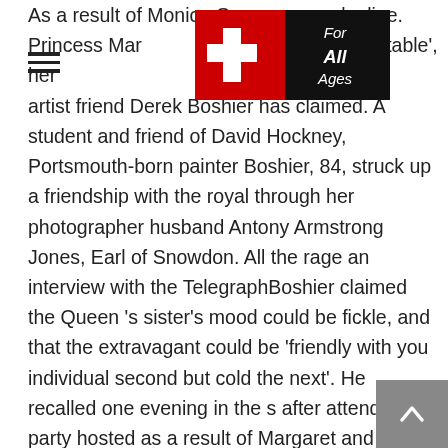As a result of Monica Green For Mailonline. Princess Margaret 's behaviour could be 'very unpredictable', her artist friend Derek Boshier has claimed. A student and friend of David Hockney, Portsmouth-born painter Boshier, 84, struck up a friendship with the royal through her photographer husband Antony Armstrong Jones, Earl of Snowdon. All the rage an interview with the TelegraphBoshier claimed the Queen 's sister's mood could be fickle, and that the extravagant could be 'friendly with you individual second but cold the next'. He recalled one evening in the s after attending a party hosted as a result of Margaret and her husband at Kensington Palace in the early s, claiming that the gathering ended by casual around a marijuana joint. Princess Margaret's behaviour could be 'very unpredictable', her artist friend Derek Boshier has claimed. She is pictured with her companion Antony Armstrong-Jones
[Figure (logo): Logo overlay with red and black Swiss cross / For All Ages branding]